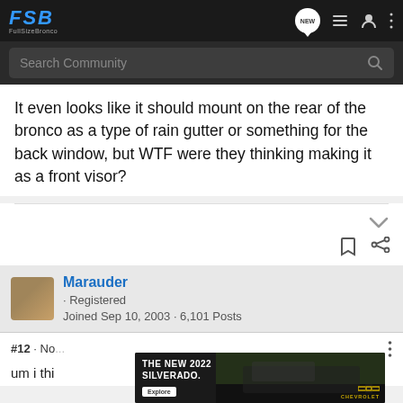FSB FullSizeBronco
Search Community
It even looks like it should mount on the rear of the bronco as a type of rain gutter or something for the back window, but WTF were they thinking making it as a front visor?
Marauder · Registered
Joined Sep 10, 2003 · 6,101 Posts
#12 · No...
um i thi...